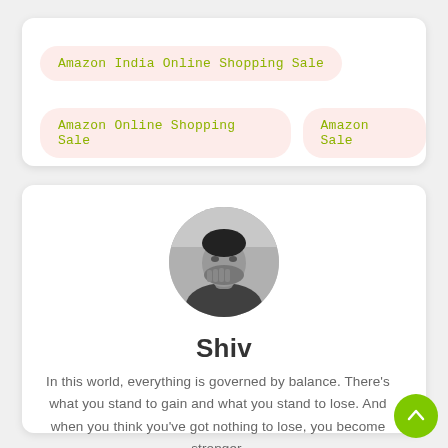Amazon India Online Shopping Sale
Amazon Online Shopping Sale
Amazon Sale
[Figure (photo): Circular black and white portrait photo of a man covering his face with one hand, wearing a plaid shirt, outdoor background]
Shiv
In this world, everything is governed by balance. There's what you stand to gain and what you stand to lose. And when you think you've got nothing to lose, you become stronger.